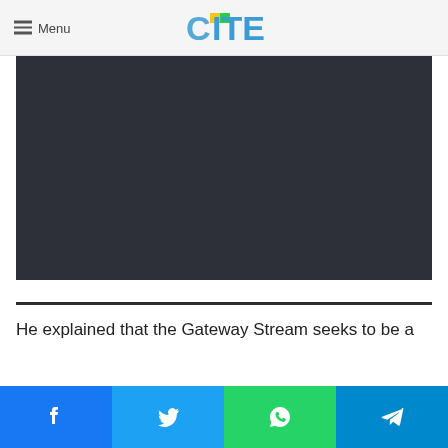Menu | CITE
[Figure (other): Dark video player area, empty/loading state with dark background #2d3038]
He explained that the Gateway Stream seeks to be a
[Figure (other): Social share bar with Facebook, Twitter, WhatsApp, and Telegram buttons]